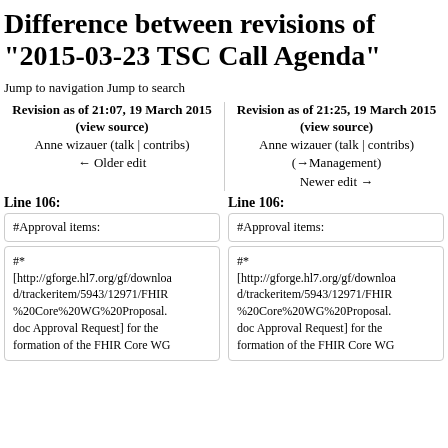Difference between revisions of "2015-03-23 TSC Call Agenda"
Jump to navigation Jump to search
Revision as of 21:07, 19 March 2015 (view source)
Anne wizauer (talk | contribs)
← Older edit
Revision as of 21:25, 19 March 2015 (view source)
Anne wizauer (talk | contribs)
(→Management)
Newer edit →
Line 106:
Line 106:
#Approval items:
#Approval items:
#*
[http://gforge.hl7.org/gf/download/trackeritem/5943/12971/FHIR%20Core%20WG%20Proposal.doc Approval Request] for the formation of the FHIR Core WG
#*
[http://gforge.hl7.org/gf/download/trackeritem/5943/12971/FHIR%20Core%20WG%20Proposal.doc Approval Request] for the formation of the FHIR Core WG